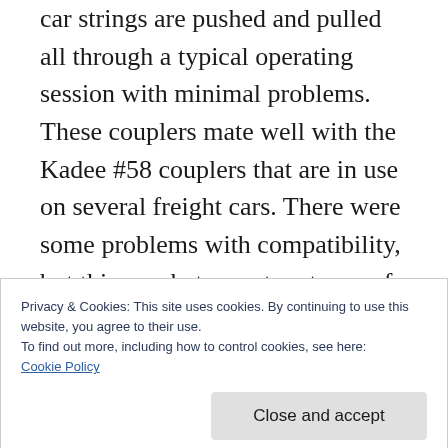car strings are pushed and pulled all through a typical operating session with minimal problems. These couplers mate well with the Kadee #58 couplers that are in use on several freight cars. There were some problems with compatibility, but this was between two types of Kadee couplers, the #58 semi-scale couplers and older 35 couplers. The older Kadee #5 couplers were replaced, or those freight cars were retired, recently which ended those difficulties.
Privacy & Cookies: This site uses cookies. By continuing to use this website, you agree to their use.
To find out more, including how to control cookies, see here:
Cookie Policy
Engineering couplers are really nice and would